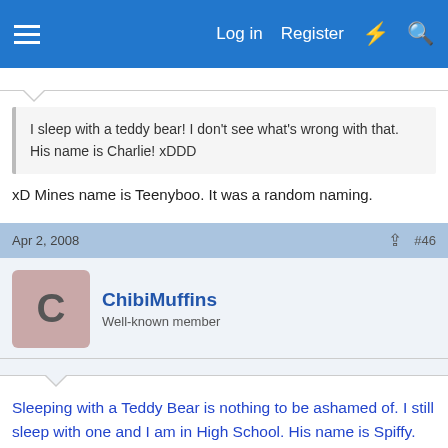Log in  Register
I sleep with a teddy bear! I don't see what's wrong with that. His name is Charlie! xDDD
xD Mines name is Teenyboo. It was a random naming.
Apr 2, 2008  #46
ChibiMuffins
Well-known member
Sleeping with a Teddy Bear is nothing to be ashamed of. I still sleep with one and I am in High School. His name is Spiffy. He is a giant large mouse. This isn't a secret, everyone knows I own him.